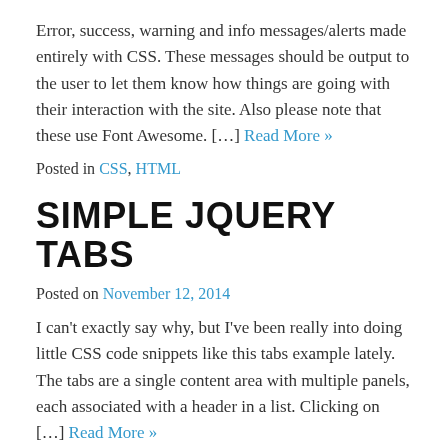Error, success, warning and info messages/alerts made entirely with CSS. These messages should be output to the user to let them know how things are going with their interaction with the site. Also please note that these use Font Awesome. […] Read More »
Posted in CSS, HTML
SIMPLE JQUERY TABS
Posted on November 12, 2014
I can't exactly say why, but I've been really into doing little CSS code snippets like this tabs example lately. The tabs are a single content area with multiple panels, each associated with a header in a list. Clicking on […] Read More »
Posted in CSS, HTML, jQuery